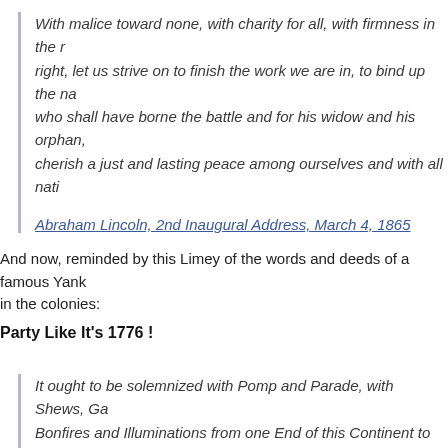With malice toward none, with charity for all, with firmness in the right, let us strive on to finish the work we are in, to bind up the na who shall have borne the battle and for his widow and his orphan, cherish a just and lasting peace among ourselves and with all nati
Abraham Lincoln, 2nd Inaugural Address, March 4, 1865
And now, reminded by this Limey of the words and deeds of a famous Yank in the colonies:
Party Like It's 1776 !
It ought to be solemnized with Pomp and Parade, with Shews, Ga Bonfires and Illuminations from one End of this Continent to the ot forever more.